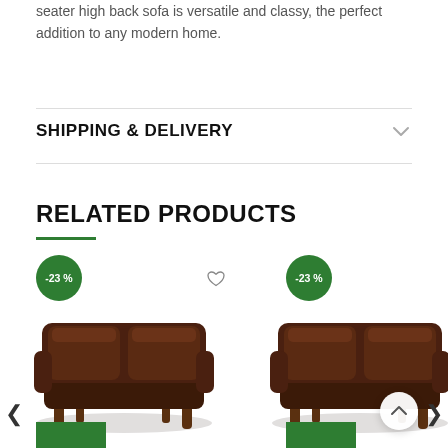seater high back sofa is versatile and classy, the perfect addition to any modern home.
SHIPPING & DELIVERY
RELATED PRODUCTS
[Figure (photo): Dark brown leather 2-seater high back sofa with wooden legs, left product card with -23% badge]
[Figure (photo): Dark brown leather 2-seater high back sofa with wooden legs, right product card with -23% badge]